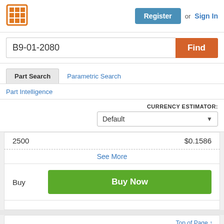[Figure (logo): Orange grid logo icon (9-cell grid with orange border)]
Register  or  Sign In
B9-01-2080
Find
Part Search
Parametric Search
Part Intelligence
CURRENCY ESTIMATOR: Default
2500   $0.1586
See More
Buy   Buy Now
Top of Page ↑
[Figure (logo): Onlinecomponents.com logo — 'online' in red/blue italic with 'components.com' badge]
Onlinecomponents.com
ECIA (NEDA) Member • Authorized Distributor